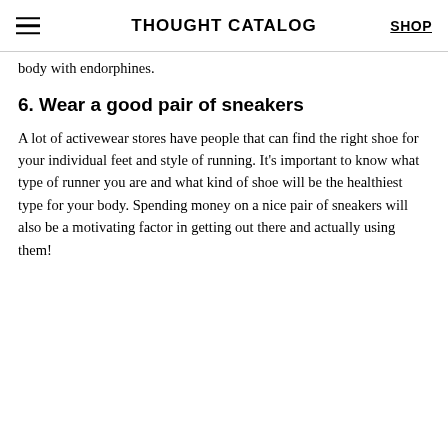THOUGHT CATALOG | SHOP
body with endorphines.
6. Wear a good pair of sneakers
A lot of activewear stores have people that can find the right shoe for your individual feet and style of running. It's important to know what type of runner you are and what kind of shoe will be the healthiest type for your body. Spending money on a nice pair of sneakers will also be a motivating factor in getting out there and actually using them!